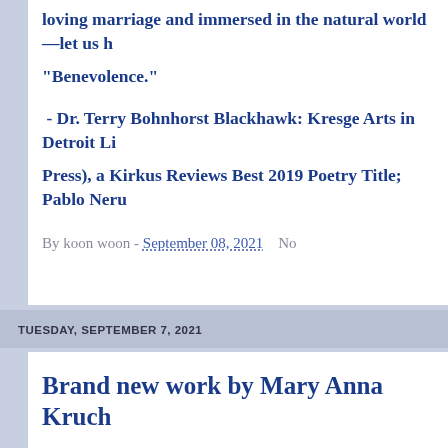loving marriage and immersed in the natural world—let us h... "Benevolence."
- Dr. Terry Bohnhorst Blackhawk: Kresge Arts in Detroit Li... Press), a Kirkus Reviews Best 2019 Poetry Title; Pablo Neru...
By koon woon - September 08, 2021   No
TUESDAY, SEPTEMBER 7, 2021
Brand new work by Mary Anna Kruch...